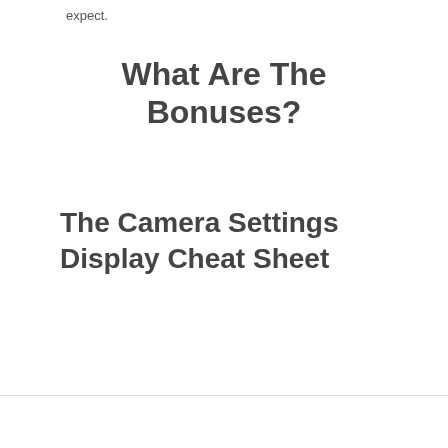expect.
What Are The Bonuses?
The Camera Settings Display Cheat Sheet